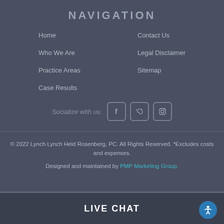NAVIGATION
Home
Contact Us
Who We Are
Legal Disclaimer
Practice Areas
Sitemap
Case Results
Socialize with us:
[Figure (infographic): Social media icons for Facebook, Twitter, and Instagram in rounded square bordered boxes]
© 2022 Lynch Lynch Held Rosenberg, PC. All Rights Reserved. *Excludes costs and expenses.
Designed and maintained by PMP Marketing Group.
LIVE CHAT